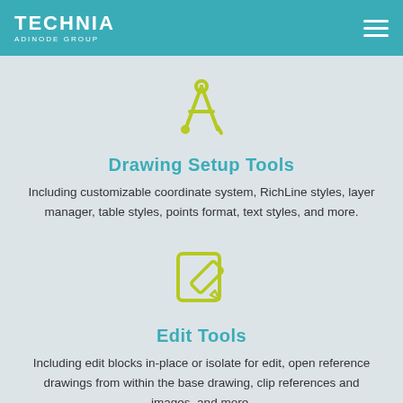TECHNIA ADINODE GROUP
[Figure (illustration): Compass/drafting tool icon in yellow-green outline style]
Drawing Setup Tools
Including customizable coordinate system, RichLine styles, layer manager, table styles, points format, text styles, and more.
[Figure (illustration): Edit/pencil on document icon in yellow-green outline style]
Edit Tools
Including edit blocks in-place or isolate for edit, open reference drawings from within the base drawing, clip references and images, and more.